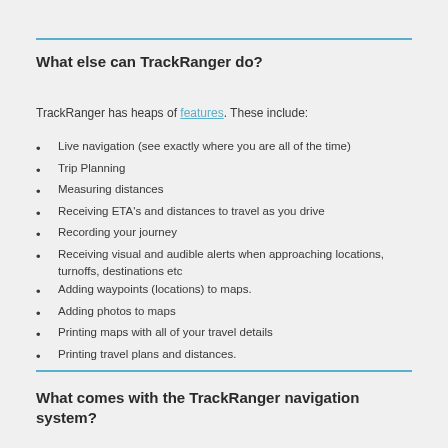What else can TrackRanger do?
TrackRanger has heaps of features. These include:
Live navigation (see exactly where you are all of the time)
Trip Planning
Measuring distances
Receiving ETA's and distances to travel as you drive
Recording your journey
Receiving visual and audible alerts when approaching locations, turnoffs, destinations etc
Adding waypoints (locations) to maps.
Adding photos to maps
Printing maps with all of your travel details
Printing travel plans and distances.
What comes with the TrackRanger navigation system?